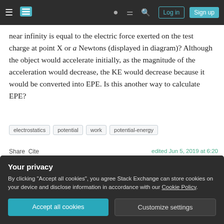Stack Exchange navigation bar with hamburger menu, logo, help, chat, search, Log in, Sign up buttons
near infinity is equal to the electric force exerted on the test charge at point X or a Newtons (displayed in diagram)? Although the object would accelerate initially, as the magnitude of the acceleration would decrease, the KE would decrease because it would be converted into EPE. Is this another way to calculate EPE?
electrostatics
potential
work
potential-energy
Share   Cite
Improve this question
edited Jun 5, 2019 at 6:20
Qmechanic ♦
Your privacy
By clicking "Accept all cookies", you agree Stack Exchange can store cookies on your device and disclose information in accordance with our Cookie Policy.
Accept all cookies   Customize settings